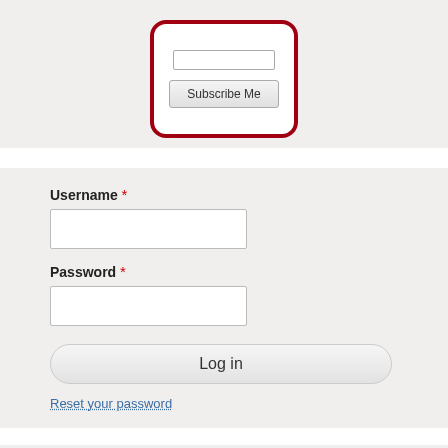[Figure (screenshot): Subscribe form widget with a red-bordered rounded white box containing an input field and a 'Subscribe Me' button, on a light gray background.]
Username *
[Figure (screenshot): Username text input field (empty)]
Password *
[Figure (screenshot): Password text input field (empty)]
Log in
Reset your password
Sponsored hosting
Hosting sponsored by the platform.sh logo High Control PaaS